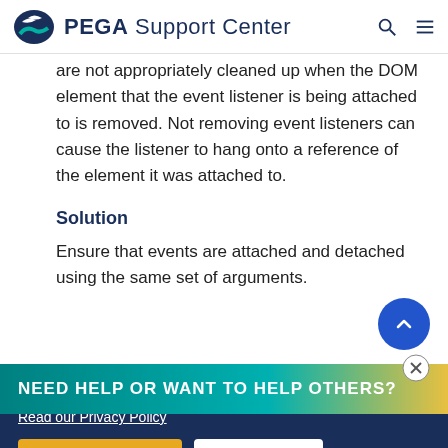PEGA Support Center
are not appropriately cleaned up when the DOM element that the event listener is being attached to is removed. Not removing event listeners can cause the listener to hang onto a reference of the element it was attached to.
Solution
Ensure that events are attached and detached using the same set of arguments.
NEED HELP OR WANT TO HELP OTHERS?
By using this site, you agree to the use of cookies.
Read our Privacy Policy
Accept and continue   About cookies